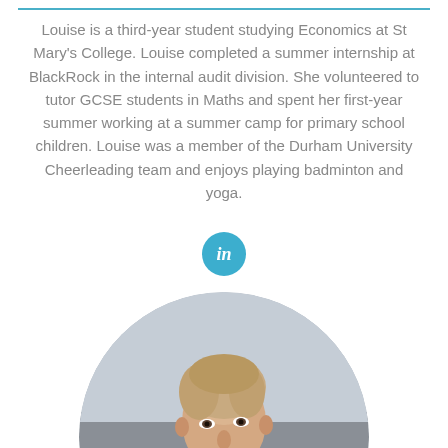Louise is a third-year student studying Economics at St Mary's College. Louise completed a summer internship at BlackRock in the internal audit division. She volunteered to tutor GCSE students in Maths and spent her first-year summer working at a summer camp for primary school children. Louise was a member of the Durham University Cheerleading team and enjoys playing badminton and yoga.
[Figure (logo): LinkedIn icon button — circular teal/blue badge with white 'in' text]
[Figure (photo): Circular cropped portrait photo of a young woman with short hair wearing a dark blazer, photographed outdoors in natural light]